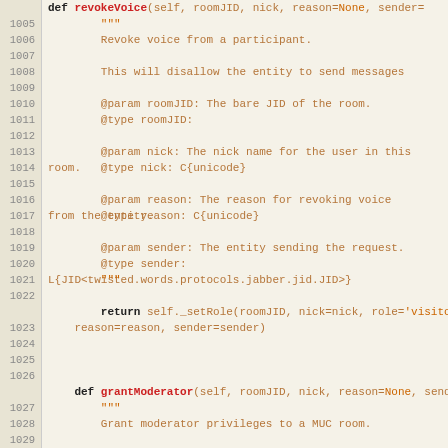[Figure (screenshot): Source code viewer showing Python method definitions 'revokeVoice' and 'grantModerator' with line numbers 1005-1029, displayed with syntax highlighting on a beige/cream background.]